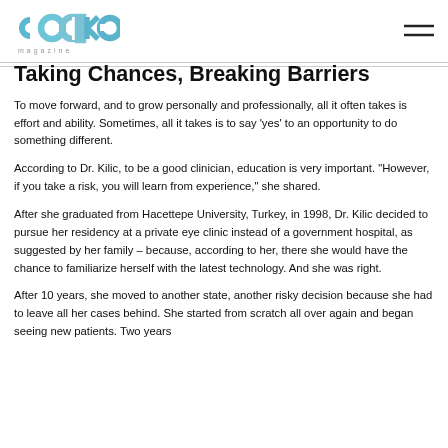cake magazine
Taking Chances, Breaking Barriers
To move forward, and to grow personally and professionally, all it often takes is effort and ability. Sometimes, all it takes is to say ‘yes’ to an opportunity to do something different.
According to Dr. Kilic, to be a good clinician, education is very important. “However, if you take a risk, you will learn from experience,” she shared.
After she graduated from Hacettepe University, Turkey, in 1998, Dr. Kilic decided to pursue her residency at a private eye clinic instead of a government hospital, as suggested by her family – because, according to her, there she would have the chance to familiarize herself with the latest technology. And she was right.
After 10 years, she moved to another state, another risky decision because she had to leave all her cases behind. She started from scratch all over again and began seeing new patients. Two years…